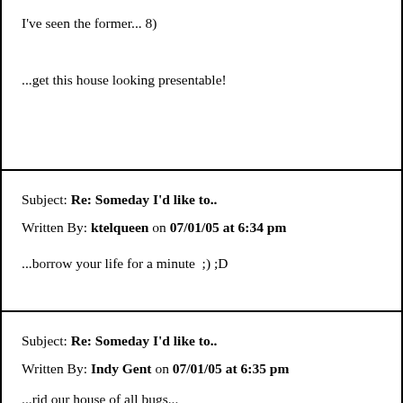I've seen the former... 8)
...get this house looking presentable!
Subject: Re: Someday I'd like to..
Written By: ktelqueen on 07/01/05 at 6:34 pm
...borrow your life for a minute  ;) ;D
Subject: Re: Someday I'd like to..
Written By: Indy Gent on 07/01/05 at 6:35 pm
...rid our house of all bugs...